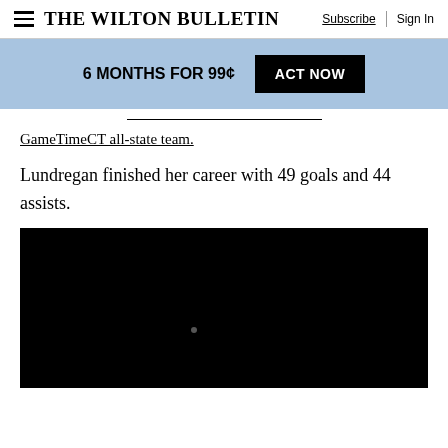The Wilton Bulletin | Subscribe | Sign In
6 MONTHS FOR 99¢  ACT NOW
GameTimeCT all-state team.
Lundregan finished her career with 49 goals and 44 assists.
[Figure (other): Black video player embed, mostly black with a small grey dot in the center-left area]